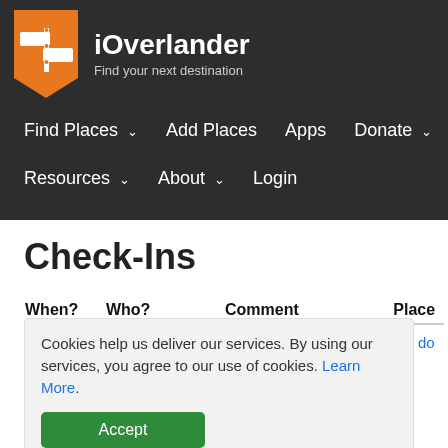[Figure (logo): iOverlander logo: orange shield/signpost icon with white arrows, next to text 'iOverlander' and subtitle 'Find your next destination']
Find Places  ∨   Add Places   Apps   Donate  ∨   Resources  ∨   About  ∨   Login
Check-Ins
| When? | Who? | Comment | Place |
| --- | --- | --- | --- |
Cookies help us deliver our services. By using our services, you agree to our use of cookies. Learn More.
Accept
Reject